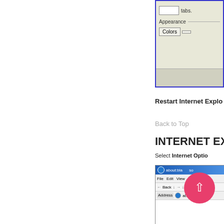[Figure (screenshot): Partial view of Internet Explorer Options dialog box showing 'tabs.' text, an Appearance section with a Colors button and partially visible second button, and a gray footer area. Dialog has blue border.]
Restart Internet Explo
Back to Top
INTERNET EX
Select Internet Optio
[Figure (screenshot): Partial view of Internet Explorer browser window showing title bar with 'about:bla' text, menu bar with File, Edit, View, Fav options, toolbar with Back button and close button, address bar showing 'about:blank', and empty white content area.]
[Figure (other): Pink/red circular button with white upward-pointing chevron arrow, serving as a 'back to top' navigation button, overlapping the IE screenshot.]